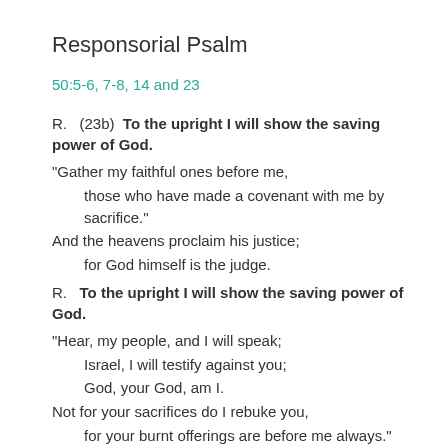Responsorial Psalm
50:5-6, 7-8, 14 and 23
R.   (23b)  To the upright I will show the saving power of God.
“Gather my faithful ones before me,
    those who have made a covenant with me by sacrifice.”
And the heavens proclaim his justice;
    for God himself is the judge.
R.   To the upright I will show the saving power of God.
“Hear, my people, and I will speak;
    Israel, I will testify against you;
    God, your God, am I.
Not for your sacrifices do I rebuke you,
    for your burnt offerings are before me always.”